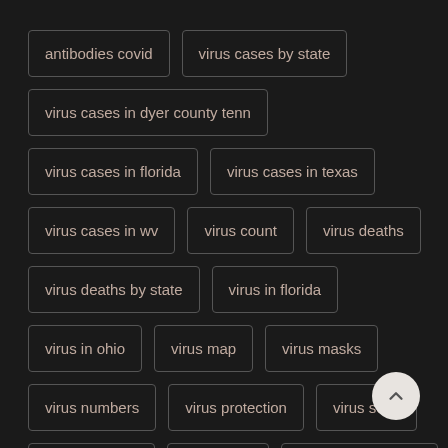antibodies covid
virus cases by state
virus cases in dyer county tenn
virus cases in florida
virus cases in texas
virus cases in wv
virus count
virus deaths
virus deaths by state
virus in florida
virus in ohio
virus map
virus masks
virus numbers
virus protection
virus scan
virus statistics
virus stats
virus symptoms
virus update
virus vaccine update